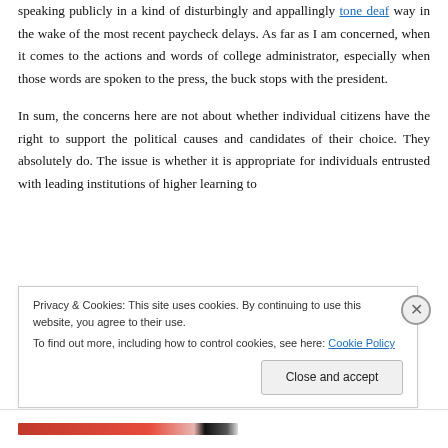speaking publicly in a kind of disturbingly and appallingly tone deaf way in the wake of the most recent paycheck delays. As far as I am concerned, when it comes to the actions and words of college administrator, especially when those words are spoken to the press, the buck stops with the president.
In sum, the concerns here are not about whether individual citizens have the right to support the political causes and candidates of their choice. They absolutely do. The issue is whether it is appropriate for individuals entrusted with leading institutions of higher learning to
Privacy & Cookies: This site uses cookies. By continuing to use this website, you agree to their use.
To find out more, including how to control cookies, see here: Cookie Policy
Close and accept